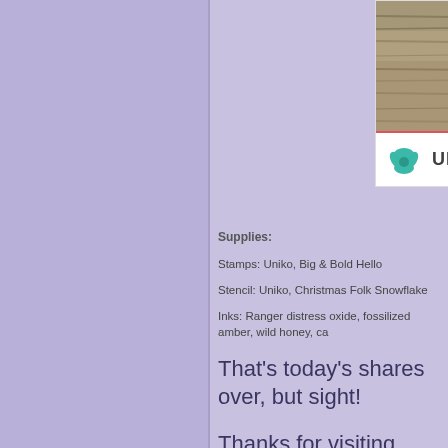[Figure (photo): Product card showing textured bark/stone surface photo at top, with a red dividing line and Uniko logo (teal flower emblem and UNIKO text) at bottom]
Supplies:
Stamps: Uniko, Big & Bold Hello
Stencil: Uniko, Christmas Folk Snowflake
Inks: Ranger distress oxide, fossilized amber, wild honey, ca
That's today's shares over, but sight!
Thanks for visiting today, hope